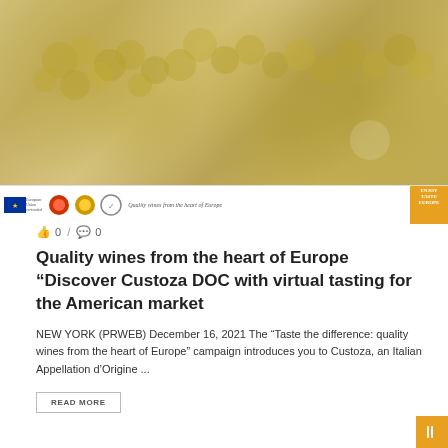[Figure (photo): Hero image showing grapes/vineyard scene with warm golden-yellow tones, with an EU-funded campaign banner strip at the bottom featuring logos and 'Quality wines from the heart of Europe' text]
0 / 0
Quality wines from the heart of Europe “Discover Custoza DOC with virtual tasting for the American market
NEW YORK (PRWEB) December 16, 2021 The “Taste the difference: quality wines from the heart of Europe” campaign introduces you to Custoza, an Italian Appellation d’Origine ...
READ MORE